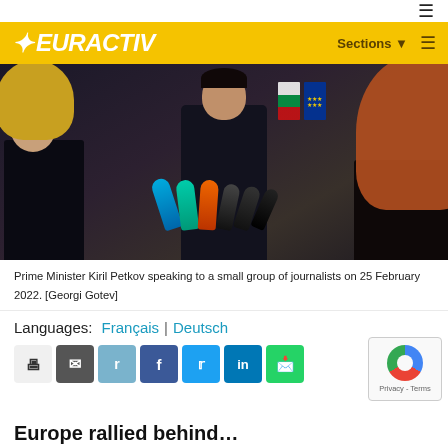EURACTIV — Sections (navigation bar)
[Figure (photo): Prime Minister Kiril Petkov speaking to a small group of journalists on 25 February 2022, with multiple microphones (blue, teal, orange, black) in front of him, EU and Bulgarian flags in background, two journalists visible from behind on either side.]
Prime Minister Kiril Petkov speaking to a small group of journalists on 25 February 2022. [Georgi Gotev]
Languages: Français | Deutsch
[Figure (other): Social sharing buttons: print, email, reddit, facebook, twitter, linkedin, whatsapp]